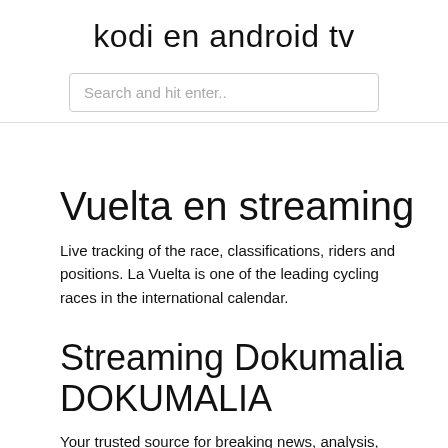kodi en android tv
Search and hit enter..
Vuelta en streaming
Live tracking of the race, classifications, riders and positions. La Vuelta is one of the leading cycling races in the international calendar.
Streaming Dokumalia DOKUMALIA
Your trusted source for breaking news, analysis, exclusive interviews, headlines, and videos at ABCNews.com. Watch live football stream. You can watch the following Premier League streams by clicking on the game link or in the match